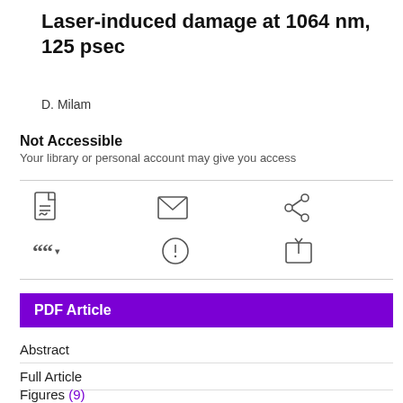Laser-induced damage at 1064 nm, 125 psec
D. Milam
Not Accessible
Your library or personal account may give you access
[Figure (infographic): Row of action icons: PDF download, email, share, cite (with dropdown arrow), alert/information, and save-to-folder]
PDF Article
Abstract
Full Article
Figures (9)